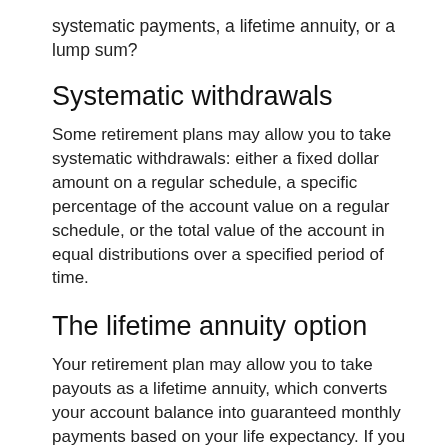systematic payments, a lifetime annuity, or a lump sum?
Systematic withdrawals
Some retirement plans may allow you to take systematic withdrawals: either a fixed dollar amount on a regular schedule, a specific percentage of the account value on a regular schedule, or the total value of the account in equal distributions over a specified period of time.
The lifetime annuity option
Your retirement plan may allow you to take payouts as a lifetime annuity, which converts your account balance into guaranteed monthly payments based on your life expectancy. If you live longer than expected, the payments continue anyway.*